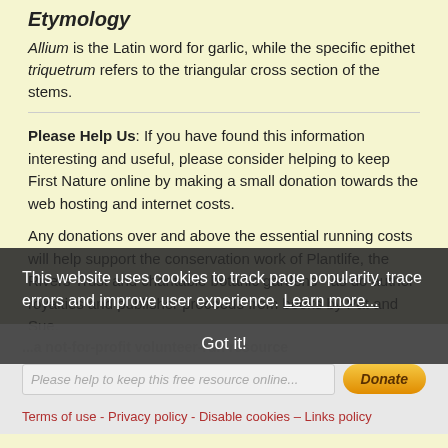Etymology
Allium is the Latin word for garlic, while the specific epithet triquetrum refers to the triangular cross section of the stems.
Please Help Us: If you have found this information interesting and useful, please consider helping to keep First Nature online by making a small donation towards the web hosting and internet costs.
Any donations over and above the essential running costs will help support the conservation work of Plantlife, the Rivers Trust and charitable botanic gardens - as do author royalties and publisher proceeds from books by Pat and Sue.
This website uses cookies to track page popularity, trace errors and improve user experience. Learn more...
Got it!
...a not-for-profit volunteer-run resource
Please help to keep this free resource online...
Terms of use - Privacy policy - Disable cookies – Links policy